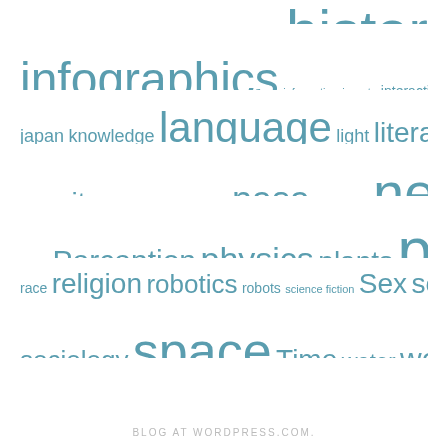[Figure (infographic): Tag cloud / word cloud containing various topic keywords in different sizes, all in steel blue color. The visible words include: Gender, genetics, globalization, google, gps, history, infographics, information, insects, interactive, internet, japan, knowledge, language, light, literature, mars, memory, mind, mit, moon, morality, nasa, Nature, neuroscience, paper, Perception, physics, plants, psychology, race, religion, robotics, robots, science fiction, Sex, social media, sociology, space, Time, water, women, Writing]
BLOG AT WORDPRESS.COM.